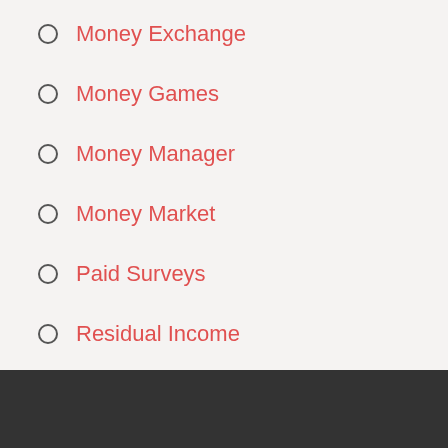Money Exchange
Money Games
Money Manager
Money Market
Paid Surveys
Residual Income
Send Money
Small Business Ideas
Surveys For Money
Ways To Make Money Fast
Wealthy Affiliate
Work
Work From Home